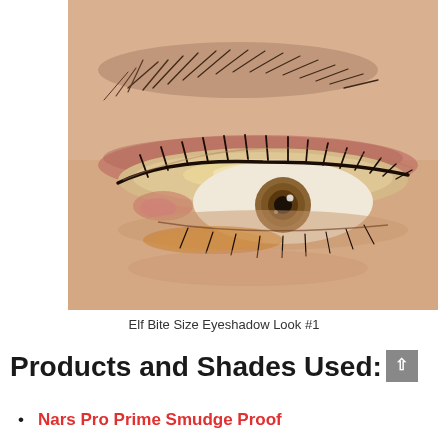[Figure (photo): Close-up photograph of a human eye with eyeshadow makeup look — warm champagne shimmer on the lid, brownish-rose crease shading, and bottom lash liner. Eyebrow visible above. Watermark 'GENTES & MARTIN' in bottom right corner.]
Elf Bite Size Eyeshadow Look #1
Products and Shades Used:
Nars Pro Prime Smudge Proof